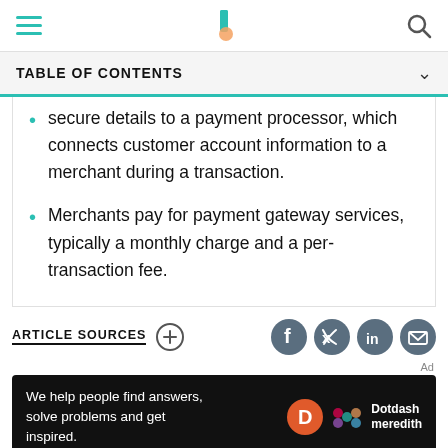[Figure (screenshot): Top navigation bar with hamburger menu, Investopedia logo, and search icon]
TABLE OF CONTENTS
secure details to a payment processor, which connects customer account information to a merchant during a transaction.
Merchants pay for payment gateway services, typically a monthly charge and a per-transaction fee.
ARTICLE SOURCES
[Figure (logo): Social share icons: Facebook, Twitter, LinkedIn, Email]
[Figure (illustration): Ad banner: We help people find answers, solve problems and get inspired. Dotdash Meredith logo.]